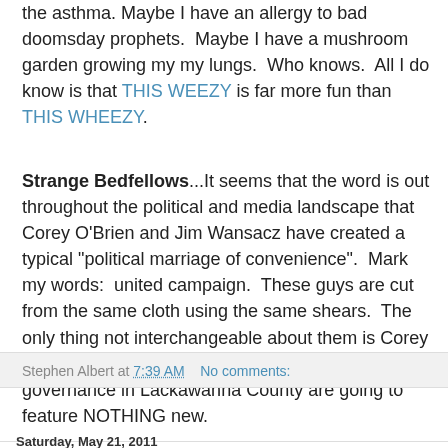the asthma. Maybe I have an allergy to bad doomsday prophets.  Maybe I have a mushroom garden growing my my lungs.  Who knows.  All I do know is that THIS WEEZY is far more fun than THIS WHEEZY.
Strange Bedfellows...It seems that the word is out throughout the political and media landscape that Corey O'Brien and Jim Wansacz have created a typical "political marriage of convenience".  Mark my words:  united campaign.  These guys are cut from the same cloth using the same shears.  The only thing not interchangeable about them is Corey O'Brien's law degree.  The next 4 years of governance in Lackawanna County are going to feature NOTHING new.
Stephen Albert at 7:39 AM   No comments:
Share
Saturday, May 21, 2011
End of World Update: Randy "Macho